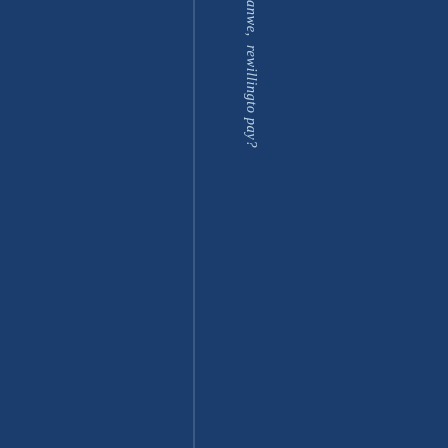anwe, rewillingto pay?
"We" are being g...